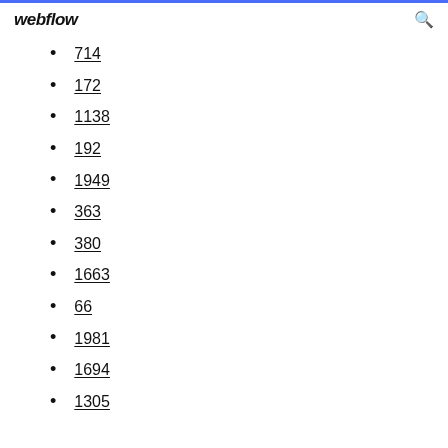webflow
714
172
1138
192
1949
363
380
1663
66
1981
1694
1305